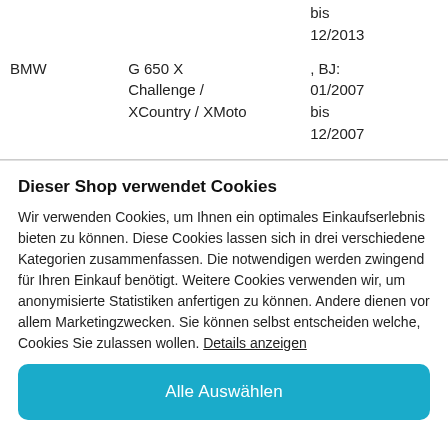| Brand | Model | Date |
| --- | --- | --- |
|  |  | bis 12/2013 |
| BMW | G 650 X Challenge / XCountry / XMoto | , BJ: 01/2007 bis 12/2007 |
Dieser Shop verwendet Cookies
Wir verwenden Cookies, um Ihnen ein optimales Einkaufserlebnis bieten zu können. Diese Cookies lassen sich in drei verschiedene Kategorien zusammenfassen. Die notwendigen werden zwingend für Ihren Einkauf benötigt. Weitere Cookies verwenden wir, um anonymisierte Statistiken anfertigen zu können. Andere dienen vor allem Marketingzwecken. Sie können selbst entscheiden welche, Cookies Sie zulassen wollen. Details anzeigen
Alle Auswählen